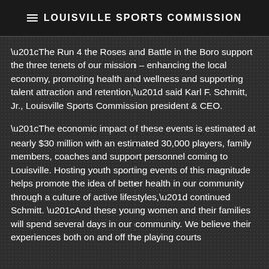LOUISVILLE SPORTS COMMISSION
“The Run 4 the Roses and Battle in the Boro support the three tenets of our mission – enhancing the local economy, promoting health and wellness and supporting talent attraction and retention,” said Karl F. Schmitt, Jr., Louisville Sports Commission president & CEO.
“The economic impact of these events is estimated at nearly $30 million with an estimated 30,000 players, family members, coaches and support personnel coming to Louisville. Hosting youth sporting events of this magnitude helps promote the idea of better health in our community through a culture of active lifestyles,” continued Schmitt. “And these young women and their families will spend several days in our community. We believe their experiences both on and off the playing courts